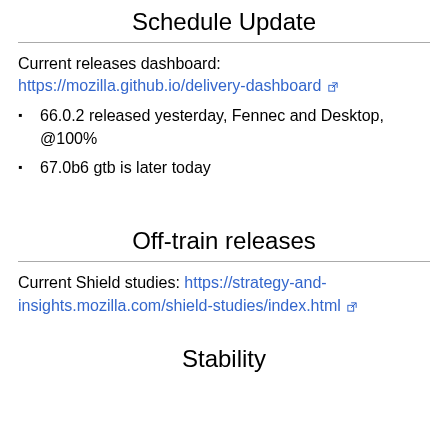Schedule Update
Current releases dashboard: https://mozilla.github.io/delivery-dashboard
66.0.2 released yesterday, Fennec and Desktop, @100%
67.0b6 gtb is later today
Off-train releases
Current Shield studies: https://strategy-and-insights.mozilla.com/shield-studies/index.html
Stability